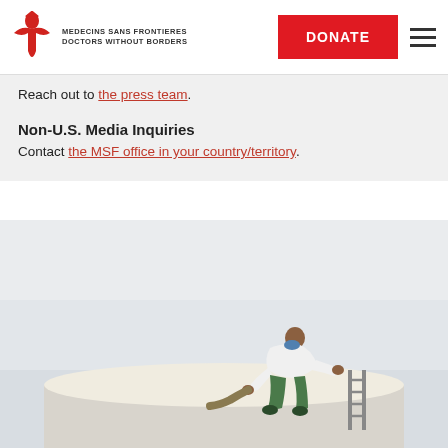[Figure (logo): Médecins Sans Frontières / Doctors Without Borders logo with red figure and text]
DONATE
Reach out to the press team.
Non-U.S. Media Inquiries
Contact the MSF office in your country/territory.
[Figure (photo): A person in a white lab coat working on top of a large water tank or cistern, handling a hose, with a ladder nearby and overcast sky in background.]